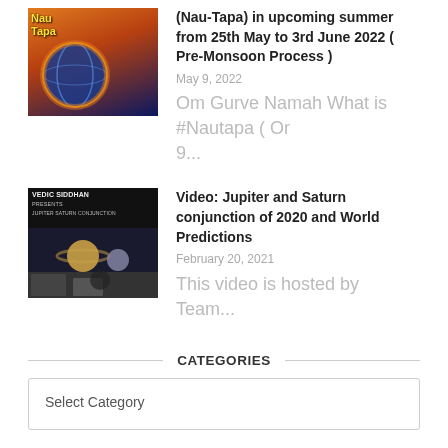[Figure (photo): NauTapa thumbnail showing globe/earth with orange glow and text NauTapa]
(Nau-Tapa) in upcoming summer from 25th May to 3rd June 2022 ( Pre-Monsoon Process )
May 9, 2022
Om Gurve Namah What is #Nautapa ( Or 9...
[Figure (photo): Vedic Siddhant thumbnail with planets and people]
Video: Jupiter and Saturn conjunction of 2020 and World Predictions
February 20, 2021
This video is hosted by Team...
CATEGORIES
Select Category